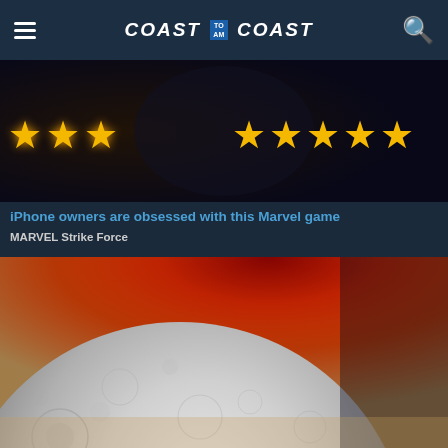COAST TO COAST AM
[Figure (screenshot): Marvel Strike Force advertisement banner with golden stars on dark background]
iPhone owners are obsessed with this Marvel game
MARVEL Strike Force
[Figure (photo): Close-up photograph of the Moon's cratered surface against a red-orange sky background]